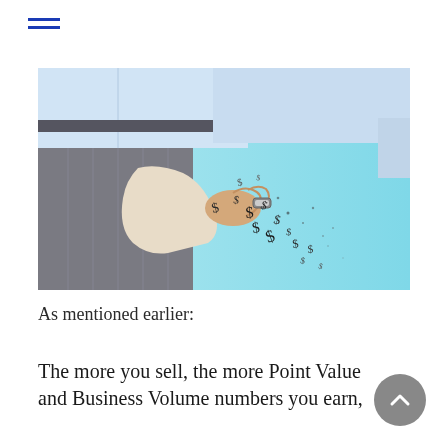[Figure (photo): A man in a grey pinstripe suit and light blue dress shirt pulling out an empty trouser pocket, with dollar signs scattering out into the air against a cyan/light blue background. He is wearing a watch on his wrist.]
As mentioned earlier:
The more you sell, the more Point Value and Business Volume numbers you earn,